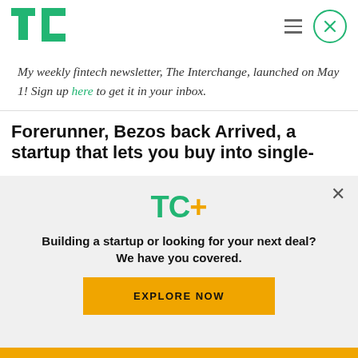[Figure (logo): TechCrunch TC green logo in top left]
My weekly fintech newsletter, The Interchange, launched on May 1! Sign up here to get it in your inbox.
Forerunner, Bezos back Arrived, a startup that lets you buy into single-
[Figure (logo): TC+ logo with green TC and orange plus sign]
Building a startup or looking for your next deal? We have you covered.
EXPLORE NOW